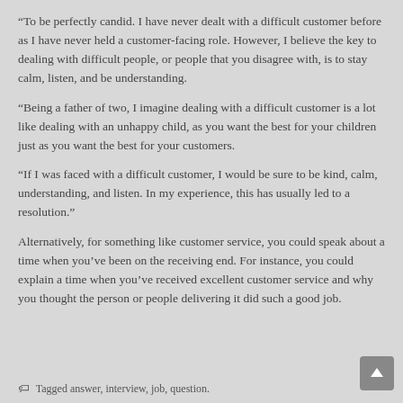“To be perfectly candid. I have never dealt with a difficult customer before as I have never held a customer-facing role. However, I believe the key to dealing with difficult people, or people that you disagree with, is to stay calm, listen, and be understanding.
“Being a father of two, I imagine dealing with a difficult customer is a lot like dealing with an unhappy child, as you want the best for your children just as you want the best for your customers.
“If I was faced with a difficult customer, I would be sure to be kind, calm, understanding, and listen. In my experience, this has usually led to a resolution.”
Alternatively, for something like customer service, you could speak about a time when you’ve been on the receiving end. For instance, you could explain a time when you’ve received excellent customer service and why you thought the person or people delivering it did such a good job.
🏷 Tagged answer, interview, job, question.